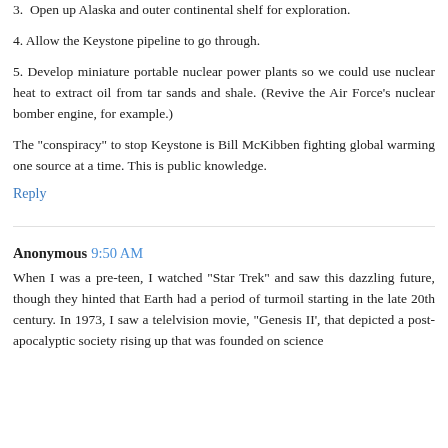3.  Open up Alaska and outer continental shelf for exploration.
4. Allow the Keystone pipeline to go through.
5. Develop miniature portable nuclear power plants so we could use nuclear heat to extract oil from tar sands and shale. (Revive the Air Force's nuclear bomber engine, for example.)
The "conspiracy" to stop Keystone is Bill McKibben fighting global warming one source at a time. This is public knowledge.
Reply
Anonymous  9:50 AM
When I was a pre-teen, I watched "Star Trek" and saw this dazzling future, though they hinted that Earth had a period of turmoil starting in the late 20th century. In 1973, I saw a telelvision movie, "Genesis II', that depicted a post-apocalyptic society rising up that was founded on science